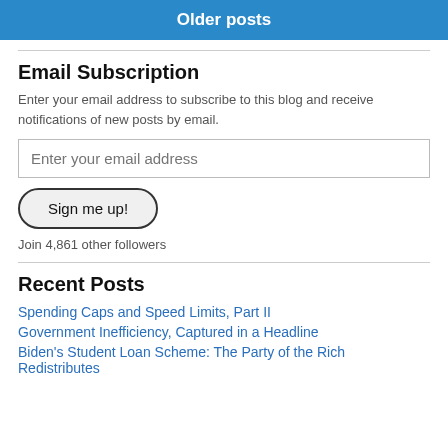Older posts
Email Subscription
Enter your email address to subscribe to this blog and receive notifications of new posts by email.
Enter your email address
Sign me up!
Join 4,861 other followers
Recent Posts
Spending Caps and Speed Limits, Part II
Government Inefficiency, Captured in a Headline
Biden's Student Loan Scheme: The Party of the Rich Redistributes